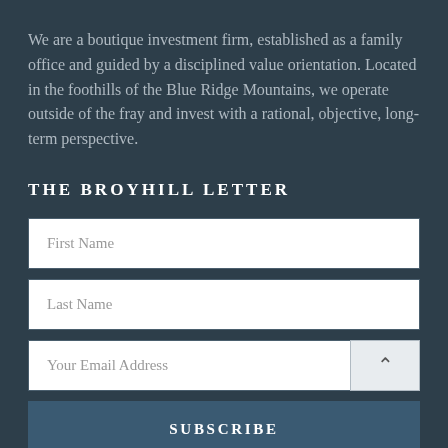We are a boutique investment firm, established as a family office and guided by a disciplined value orientation. Located in the foothills of the Blue Ridge Mountains, we operate outside of the fray and invest with a rational, objective, long-term perspective.
THE BROYHILL LETTER
[Figure (screenshot): Subscription form with First Name field, Last Name field, Your Email Address field with an arrow button, and a SUBSCRIBE button]